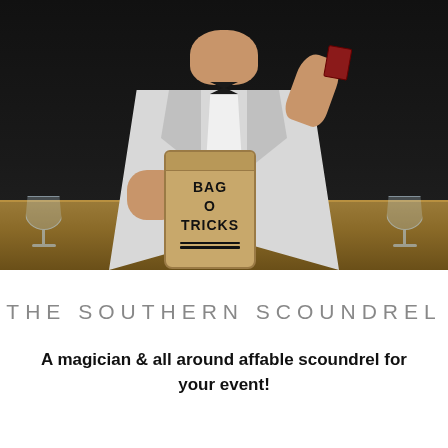[Figure (photo): A magician in a white jacket and bow tie holds a paper bag labeled 'BAG O TRICKS' in one hand and raises the other hand with playing cards. Wine glasses are visible on a table in the foreground against a dark background.]
THE SOUTHERN SCOUNDREL
A magician & all around affable scoundrel for your event!